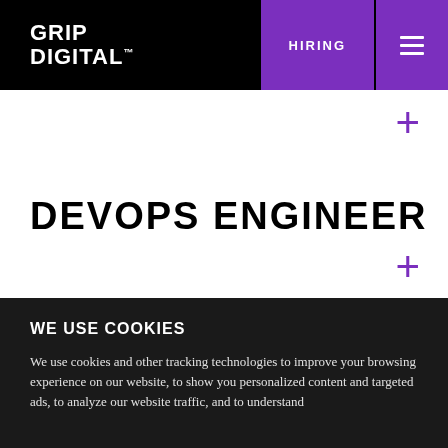GRIP DIGITAL™
HIRING
DEVOPS ENGINEER
WE USE COOKIES
We use cookies and other tracking technologies to improve your browsing experience on our website, to show you personalized content and targeted ads, to analyze our website traffic, and to understand